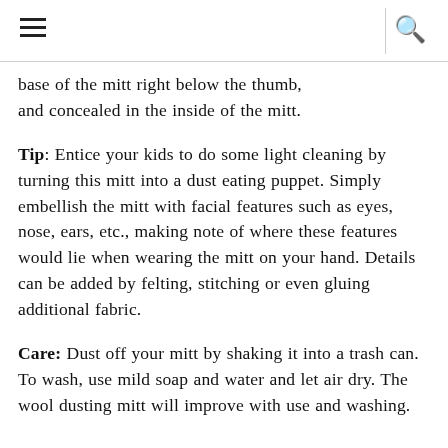[hamburger menu icon] [search icon]
base of the mitt right below the thumb, and concealed in the inside of the mitt.
Tip: Entice your kids to do some light cleaning by turning this mitt into a dust eating puppet. Simply embellish the mitt with facial features such as eyes, nose, ears, etc., making note of where these features would lie when wearing the mitt on your hand. Details can be added by felting, stitching or even gluing additional fabric.
Care: Dust off your mitt by shaking it into a trash can. To wash, use mild soap and water and let air dry. The wool dusting mitt will improve with use and washing.